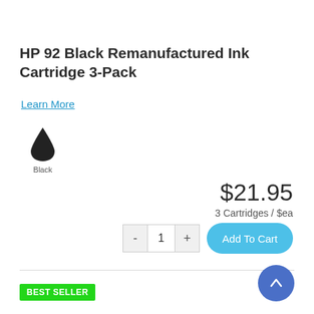HP 92 Black Remanufactured Ink Cartridge 3-Pack
Learn More
[Figure (illustration): Black ink drop icon with label 'Black' below it]
$21.95
3 Cartridges / $ea
- 1 + Add To Cart
BEST SELLER
[Figure (illustration): Blue circular scroll-to-top button with upward arrow]